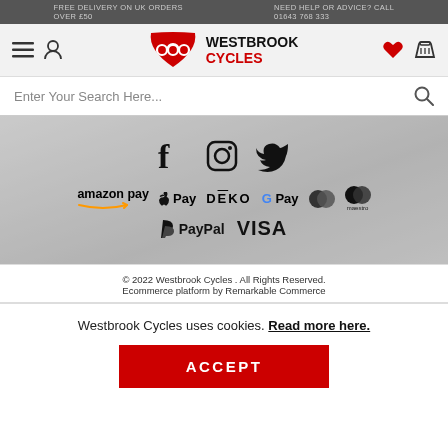FREE DELIVERY ON UK ORDERS OVER £50   NEED HELP OR ADVICE? CALL 01643 768 333
[Figure (logo): Westbrook Cycles logo with red shield icon and bold text]
Enter Your Search Here...
[Figure (infographic): Banner with social media icons (Facebook, Instagram, Twitter) and payment method logos: amazon pay, Apple Pay, DEKO, G Pay, Mastercard, Maestro, PayPal, VISA]
© 2022 Westbrook Cycles . All Rights Reserved.
Ecommerce platform by Remarkable Commerce
Westbrook Cycles uses cookies. Read more here.
ACCEPT